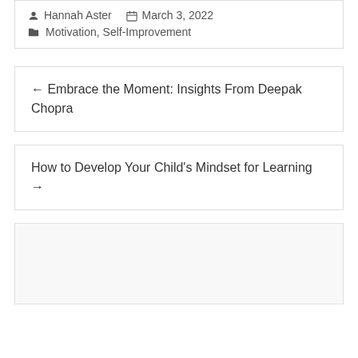Hannah Aster   March 3, 2022
Motivation, Self-Improvement
← Embrace the Moment: Insights From Deepak Chopra
How to Develop Your Child's Mindset for Learning →